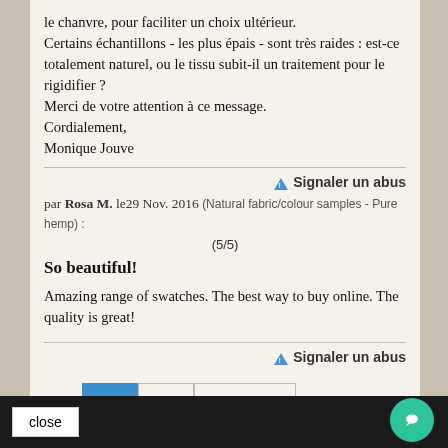le chanvre, pour faciliter un choix ultérieur. Certains échantillons - les plus épais - sont très raides : est-ce totalement naturel, ou le tissu subit-il un traitement pour le rigidifier ? Merci de votre attention à ce message. Cordialement, Monique Jouve
Signaler un abus
par Rosa M. le29 Nov. 2016 (Natural fabric/colour samples - Pure hemp) : (5/5)
So beautiful!
Amazing range of swatches. The best way to buy online. The quality is great!
Signaler un abus
1  2  Suivant »
close